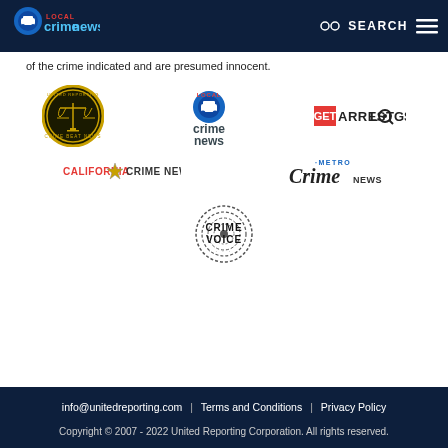Local Crime News — SEARCH
of the crime indicated and are presumed innocent.
[Figure (logo): United Reporting Crime Beat News badge logo]
[Figure (logo): Local Crime News pin logo]
[Figure (logo): Get Arrest Logs logo]
[Figure (logo): California Crime News logo]
[Figure (logo): Metro Crime News logo]
[Figure (logo): Crime Voice fingerprint logo]
info@unitedreporting.com | Terms and Conditions | Privacy Policy
Copyright © 2007 - 2022 United Reporting Corporation. All rights reserved.